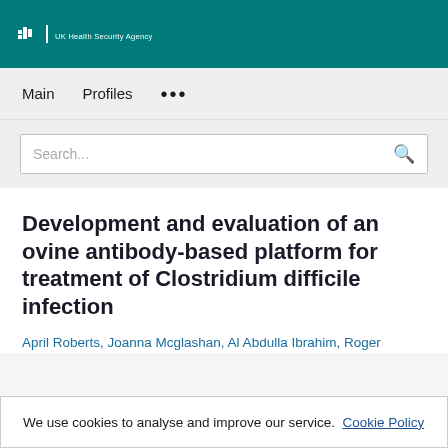UK Health Security Agency
Main   Profiles   ...
Search...
Development and evaluation of an ovine antibody-based platform for treatment of Clostridium difficile infection
April Roberts, Joanna Mcglashan, Al Abdulla Ibrahim, Roger
We use cookies to analyse and improve our service. Cookie Policy